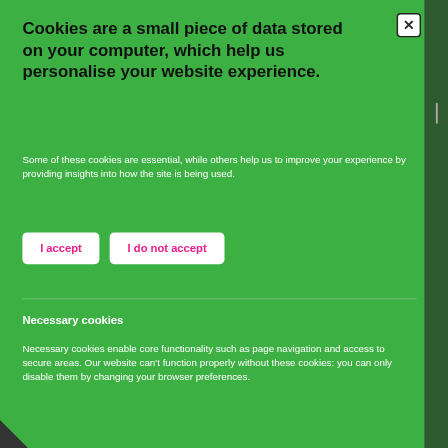Cookies are a small piece of data stored on your computer, which help us personalise your website experience.
Some of these cookies are essential, while others help us to improve your experience by providing insights into how the site is being used.
[Figure (other): I accept button - white rounded rectangle with pink bold text]
[Figure (other): I do not accept button - white rounded rectangle with pink bold text]
Necessary cookies
Necessary cookies enable core functionality such as page navigation and access to secure areas. Our website can't function properly without these cookies: you can only disable them by changing your browser preferences.